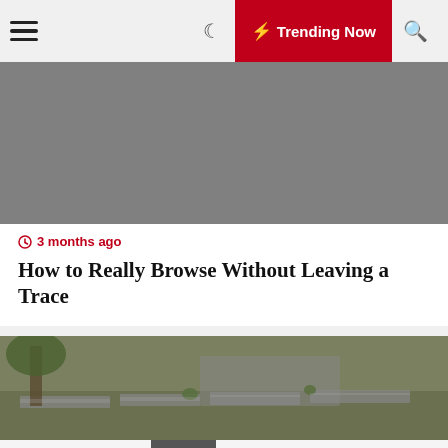Trending Now
[Figure (photo): Gray placeholder image for article about browsing without leaving a trace]
3 months ago
How to Really Browse Without Leaving a Trace
[Figure (photo): Outdoor photo showing raised garden beds or construction area with trees and a truck in background]
onics
[Figure (photo): Small thumbnail photo]
Construction of Muay Thai ce